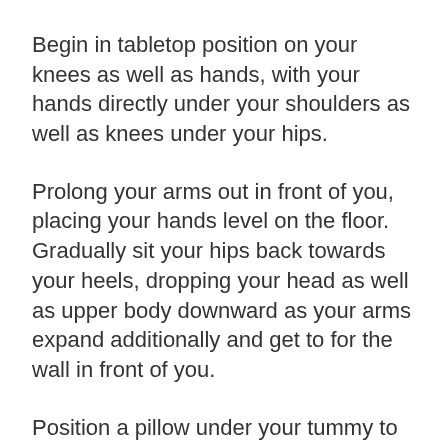Begin in tabletop position on your knees as well as hands, with your hands directly under your shoulders as well as knees under your hips.
Prolong your arms out in front of you, placing your hands level on the floor. Gradually sit your hips back towards your heels, dropping your head as well as upper body downward as your arms expand additionally and get to for the wall in front of you.
Position a pillow under your tummy to prop on your own up a little bit as well as minimize the stretch of the low-back muscle mass if this stretch is as well a lot. Hold this position for 20 to 30 secs or perhaps much